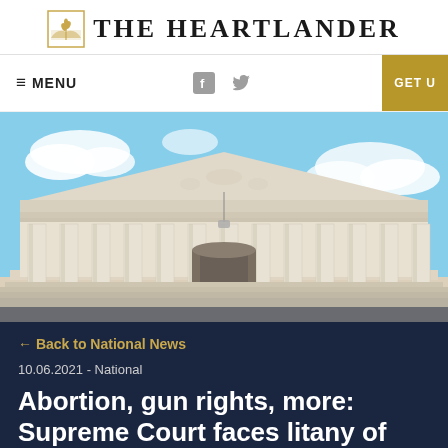THE HEARTLANDER
≡ MENU   GET U
[Figure (photo): Front facade of the United States Supreme Court building with tall classical columns, triangular pediment with sculptures, and a blue sky with white clouds in the background.]
← Back to National News
10.06.2021 - National
Abortion, gun rights, more: Supreme Court faces litany of major cases this term